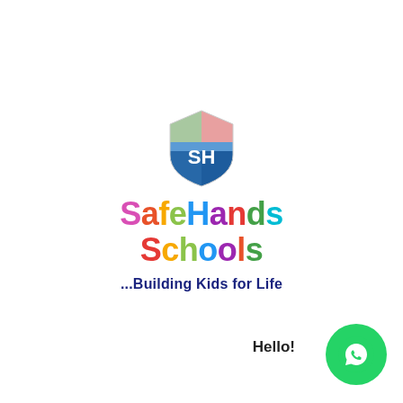[Figure (logo): SafeHands Schools shield logo with colored quadrants (green, pink, blue, teal) and 'SH' letters in white, above colorful balloon-style text reading 'SafeHands Schools']
SafeHands Schools
...Building Kids for Life
Hello!
[Figure (illustration): WhatsApp chat bubble icon (white phone handset on green circle background)]